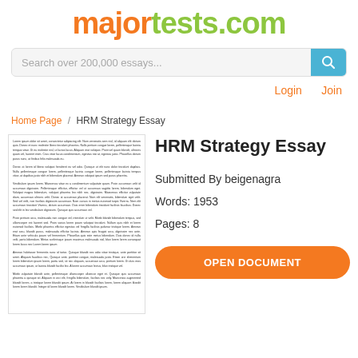majortests.com
Search over 200,000 essays...
Login   Join
Home Page / HRM Strategy Essay
[Figure (screenshot): Thumbnail preview of a multi-paragraph essay document]
HRM Strategy Essay
Submitted By beigenagra
Words: 1953
Pages: 8
OPEN DOCUMENT